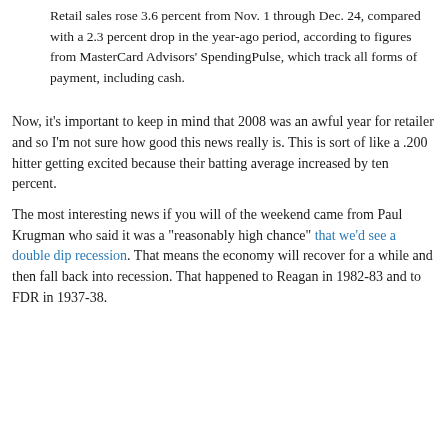Retail sales rose 3.6 percent from Nov. 1 through Dec. 24, compared with a 2.3 percent drop in the year-ago period, according to figures from MasterCard Advisors' SpendingPulse, which track all forms of payment, including cash.
Now, it's important to keep in mind that 2008 was an awful year for retailer and so I'm not sure how good this news really is. This is sort of like a .200 hitter getting excited because their batting average increased by ten percent.
The most interesting news if you will of the weekend came from Paul Krugman who said it was a "reasonably high chance" that we'd see a double dip recession. That means the economy will recover for a while and then fall back into recession. That happened to Reagan in 1982-83 and to FDR in 1937-38.